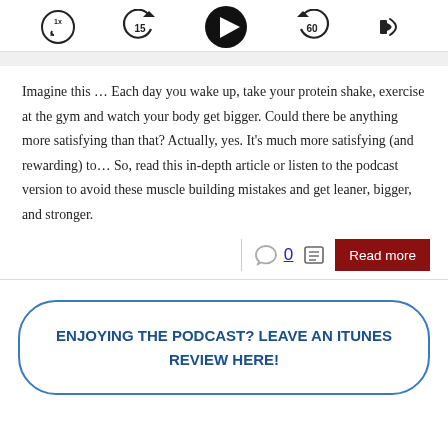[Figure (screenshot): Podcast player controls showing speed (1x), rewind 15s, play button, forward 60s, and volume icon]
Imagine this … Each day you wake up, take your protein shake, exercise at the gym and watch your body get bigger. Could there be anything more satisfying than that? Actually, yes. It's much more satisfying (and rewarding) to… So, read this in-depth article or listen to the podcast version to avoid these muscle building mistakes and get leaner, bigger, and stronger.
[Figure (screenshot): Action bar with comment icon, count 0, list icon, and Read more button]
ENJOYING THE PODCAST? LEAVE AN ITUNES REVIEW HERE!